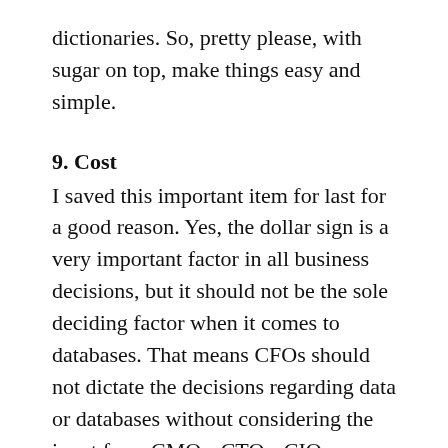dictionaries. So, pretty please, with sugar on top, make things easy and simple.
9. Cost
I saved this important item for last for a good reason. Yes, the dollar sign is a very important factor in all business decisions, but it should not be the sole deciding factor when it comes to databases. That means CFOs should not dictate the decisions regarding data or databases without considering the input from CMOs, CTOs, CIOs or CDOs who should be, in turn, concerned about all the other criteria listed in this article.
Playing with the data costs money. And, at